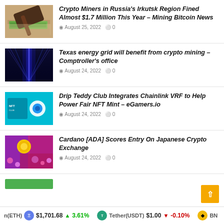[Figure (photo): Gavel and Russian ruble bills on table]
Crypto Miners in Russia's Irkutsk Region Fined Almost $1.7 Million This Year – Mining Bitcoin News
August 25, 2022  0
[Figure (photo): Blue glowing server racks in dark data center corridor]
Texas energy grid will benefit from crypto mining – Comptroller's office
August 24, 2022  0
[Figure (photo): Teal/cyan background with NFT and Chainlink logos]
Drip Teddy Club Integrates Chainlink VRF to Help Power Fair NFT Mint – eGamers.io
August 24, 2022  0
[Figure (photo): Pink/purple flowers with gold Cardano ADA coin]
Cardano [ADA] Scores Entry On Japanese Crypto Exchange
August 24, 2022  0
n(ETH) $1,701.68 ↑ 3.61%   Tether(USDT) $1.00 ↓ -0.10%   BNB